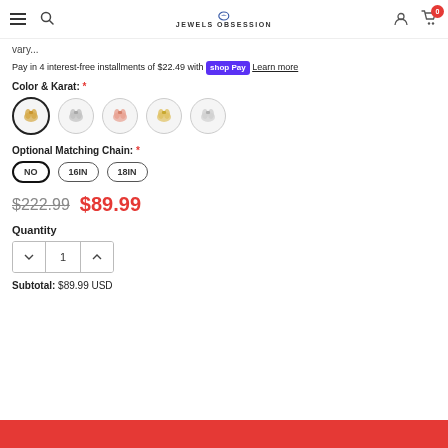Jewels Obsession header with navigation icons and cart (0 items)
vary...
Pay in 4 interest-free installments of $22.49 with shop Pay  Learn more
Color & Karat: *
[Figure (other): Five circular jewelry color/karat option swatches: yellow gold (selected), white/silver, rose gold, yellow gold variant, white/silver variant]
Optional Matching Chain: *
NO  16IN  18IN (chain size options, NO selected)
$222.99  $89.99
Quantity
1 (quantity selector)
Subtotal:  $89.99 USD